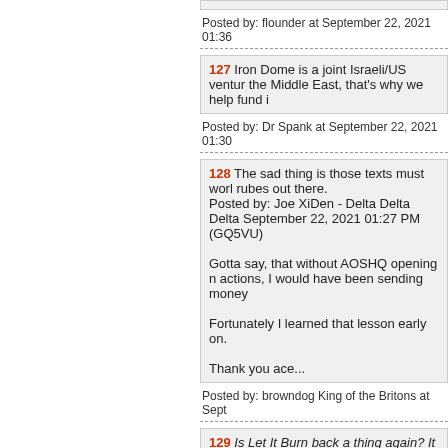Posted by: flounder at September 22, 2021 01:36
127 Iron Dome is a joint Israeli/US venture the Middle East, that's why we help fund i
Posted by: Dr Spank at September 22, 2021 01:30
128 The sad thing is those texts must work rubes out there.
Posted by: Joe XiDen - Delta Delta Delta September 22, 2021 01:27 PM (GQ5VU)

Gotta say, that without AOSHQ opening m actions, I would have been sending money

Fortunately I learned that lesson early on.

Thank you ace...
Posted by: browndog King of the Britons at Sept
129 Is Let It Burn back a thing again? It n
It stopped being a thing at any point?